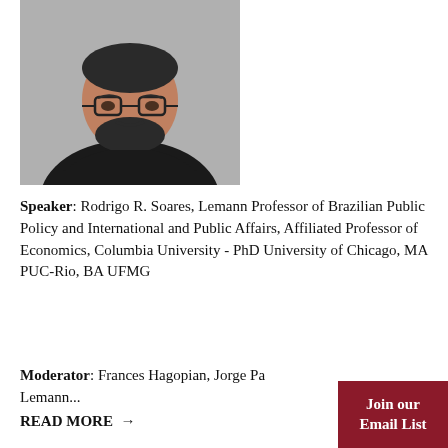[Figure (photo): Portrait photo of a man with glasses and beard wearing a dark blazer, arms crossed, gray background]
Speaker: Rodrigo R. Soares, Lemann Professor of Brazilian Public Policy and International and Public Affairs, Affiliated Professor of Economics, Columbia University - PhD University of Chicago, MA PUC-Rio, BA UFMG
Moderator: Frances Hagopian, Jorge Pa... Lemann...
READ MORE →
Join our Email List